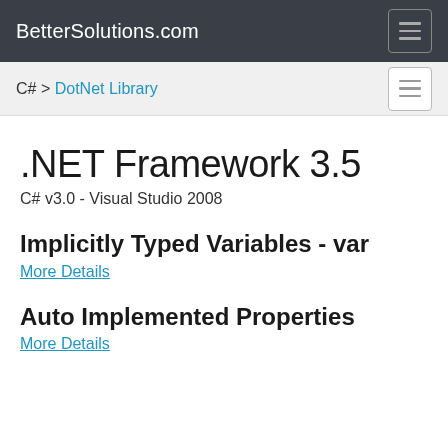BetterSolutions.com
C# > DotNet Library
.NET Framework 3.5
C# v3.0 - Visual Studio 2008
Implicitly Typed Variables - var
More Details
Auto Implemented Properties
More Details